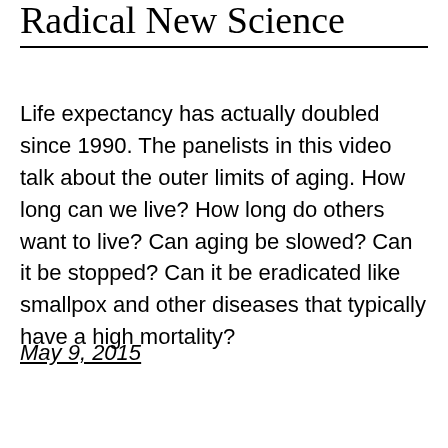Radical New Science
Life expectancy has actually doubled since 1990. The panelists in this video talk about the outer limits of aging. How long can we live? How long do others want to live? Can aging be slowed? Can it be stopped? Can it be eradicated like smallpox and other diseases that typically have a high mortality?
May 9, 2015